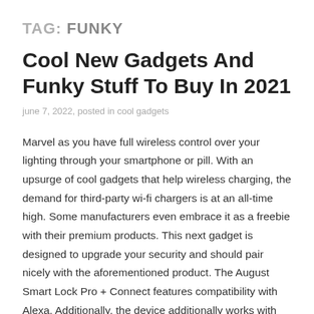TAG: FUNKY
Cool New Gadgets And Funky Stuff To Buy In 2021
june 7, 2022, posted in cool gadgets
Marvel as you have full wireless control over your lighting through your smartphone or pill. With an upsurge of cool gadgets that help wireless charging, the demand for third-party wi-fi chargers is at an all-time high. Some manufacturers even embrace it as a freebie with their premium products. This next gadget is designed to upgrade your security and should pair nicely with the aforementioned product. The August Smart Lock Pro + Connect features compatibility with Alexa. Additionally, the device additionally works with